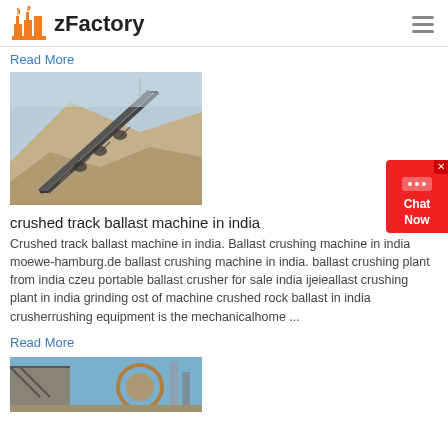zFactory
Read More
[Figure (photo): Conveyor belt machinery on a large rock/gravel mound at an industrial site]
crushed track ballast machine in india
Crushed track ballast machine in india. Ballast crushing machine in india moewe-hamburg.de ballast crushing machine in india. ballast crushing plant from india czeu portable ballast crusher for sale india ijeieallast crushing plant in india grinding ost of machine crushed rock ballast in india crusherrushing equipment is the mechanicalhome ...
Read More
[Figure (photo): Industrial machinery/equipment at a construction or mining site with cranes and structures]